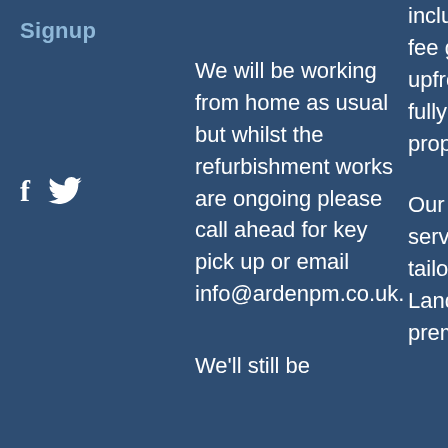Signup
[Figure (illustration): Facebook and Twitter social media icons in white]
We will be working from home as usual but whilst the refurbishment works are ongoing please call ahead for key pick up or email info@ardenpm.co.uk.
We'll still be
includes a no let no fee guarantee and no upfront charges for fully managed properties.
Our Edinburgh letting services can be tailored to suit Landlords including premium rental